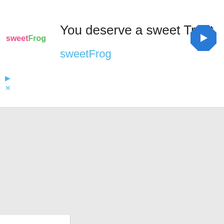[Figure (screenshot): Advertisement banner for sweetFrog with logo, title text 'You deserve a sweet Treat', brand name 'sweetFrog', play and close icons, and a blue navigation arrow icon on the right]
You deserve a sweet Treat
sweetFrog
[Figure (screenshot): Google Maps-style navigation interface showing a map panel with a collapse tab (chevron up), a 'via' label with red underline, and a horizontal divider line]